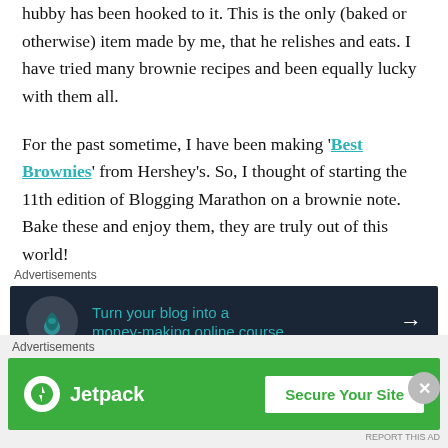hubby has been hooked to it. This is the only (baked or otherwise) item made by me, that he relishes and eats. I have tried many brownie recipes and been equally lucky with them all.
For the past sometime, I have been making 'Best Brownies' from Hershey's. So, I thought of starting the 11th edition of Blogging Marathon on a brownie note. Bake these and enjoy them, they are truly out of this world!
[Figure (other): Dark advertisement banner: Turn your blog into a money-making online course. with arrow icon]
[Figure (other): Jetpack advertisement banner: Secure Your Site]
Advertisements
Advertisements